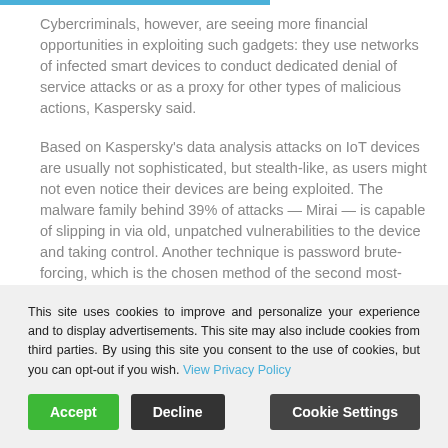Cybercriminals, however, are seeing more financial opportunities in exploiting such gadgets: they use networks of infected smart devices to conduct dedicated denial of service attacks or as a proxy for other types of malicious actions, Kaspersky said.
Based on Kaspersky's data analysis attacks on IoT devices are usually not sophisticated, but stealth-like, as users might not even notice their devices are being exploited. The malware family behind 39% of attacks — Mirai — is capable of slipping in via old, unpatched vulnerabilities to the device and taking control. Another technique is password brute-forcing, which is the chosen method of the second most-
This site uses cookies to improve and personalize your experience and to display advertisements. This site may also include cookies from third parties. By using this site you consent to the use of cookies, but you can opt-out if you wish. View Privacy Policy